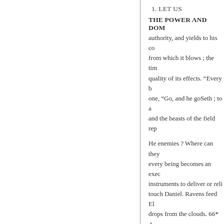1. LET US
THE POWER AND DOM authority, and yields to his co from which it blows ; the tim quality of its effects. “Every b one, “Go, and he goSeth ; to a and the beasts of the field rep
He enemies ? Where can they every being becomes an exec instruments to deliver or reli touch Daniel. Ravens feed El drops from the clouds. 66* A the sea, and let them " fall by
side, and as it were a day’s jo about two cu” bits high upon questioned his ability to supp Behold He smote the rock, a give bread also, can he provi The people among whom I a give “ them flesh that they m to suffice “ them? or shall all